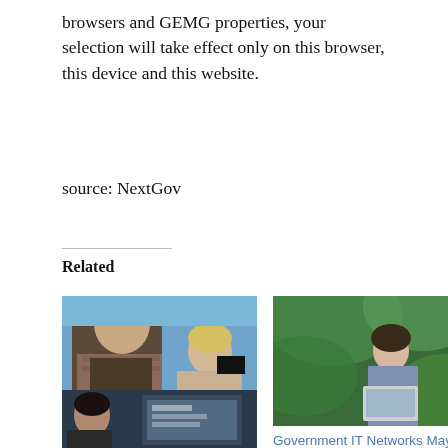browsers and GEMG properties, your selection will take effect only on this browser, this device and this website.
source: NextGov
Related
[Figure (photo): Man in vest and woman with glasses at an outdoor event]
GSA's Dave Zvenyach to Exit Government
In "Government"
[Figure (photo): Woman working on laptop outdoors surrounded by large green leaves]
Government IT Networks May Not be Ready for Office Return, Survey Says
In "Government"
[Figure (photo): Person looking at display screens]